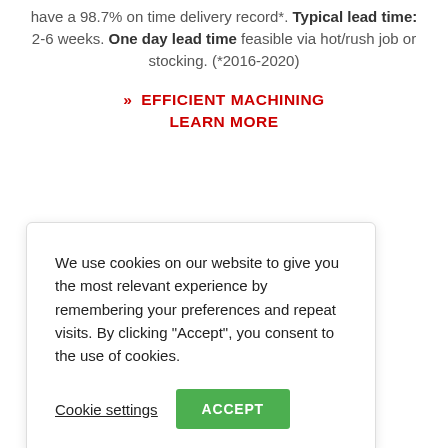have a 98.7% on time delivery record*. Typical lead time: 2-6 weeks. One day lead time feasible via hot/rush job or stocking. (*2016-2020)
>> EFFICIENT MACHINING LEARN MORE
We use cookies on our website to give you the most relevant experience by remembering your preferences and repeat visits. By clicking "Accept", you consent to the use of cookies.
Cookie settings  ACCEPT